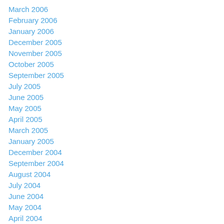March 2006
February 2006
January 2006
December 2005
November 2005
October 2005
September 2005
July 2005
June 2005
May 2005
April 2005
March 2005
January 2005
December 2004
September 2004
August 2004
July 2004
June 2004
May 2004
April 2004